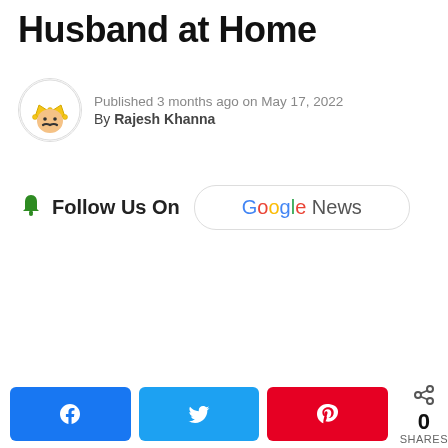Husband at Home
Published 3 months ago on May 17, 2022
By Rajesh Khanna
[Figure (infographic): Follow Us On Google News button with bell icon and Google News logo]
[Figure (infographic): Social share buttons: Facebook, Twitter, Pinterest, and share count showing 0 SHARES]